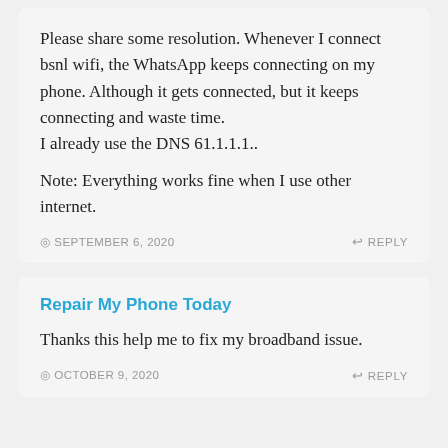Please share some resolution. Whenever I connect bsnl wifi, the WhatsApp keeps connecting on my phone. Although it gets connected, but it keeps connecting and waste time.
I already use the DNS 61.1.1.1..

Note: Everything works fine when I use other internet.
SEPTEMBER 6, 2020   REPLY
Repair My Phone Today
Thanks this help me to fix my broadband issue.
OCTOBER 9, 2020   REPLY